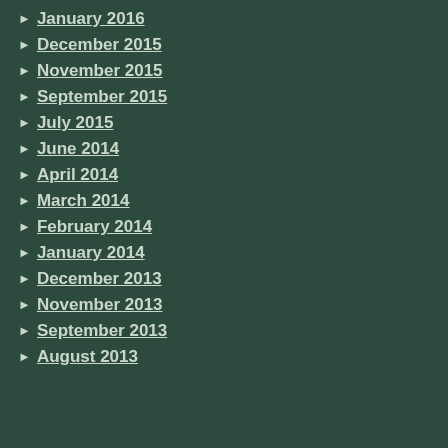January 2016
December 2015
November 2015
September 2015
July 2015
June 2014
April 2014
March 2014
February 2014
January 2014
December 2013
November 2013
September 2013
August 2013